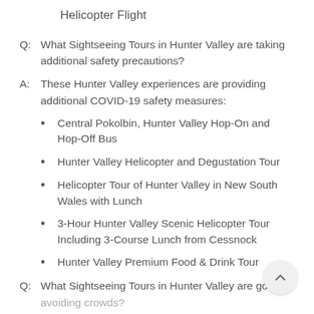Helicopter Flight
Q: What Sightseeing Tours in Hunter Valley are taking additional safety precautions?
A: These Hunter Valley experiences are providing additional COVID-19 safety measures:
Central Pokolbin, Hunter Valley Hop-On and Hop-Off Bus
Hunter Valley Helicopter and Degustation Tour
Helicopter Tour of Hunter Valley in New South Wales with Lunch
3-Hour Hunter Valley Scenic Helicopter Tour Including 3-Course Lunch from Cessnock
Hunter Valley Premium Food & Drink Tour
Q: What Sightseeing Tours in Hunter Valley are good for avoiding crowds?